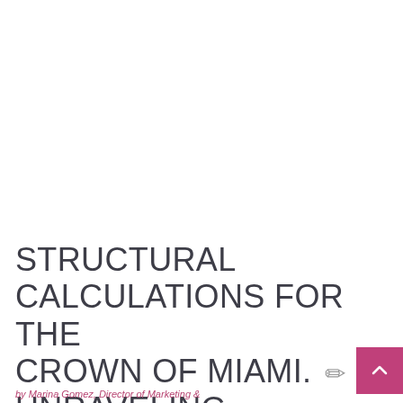STRUCTURAL CALCULATIONS FOR THE CROWN OF MIAMI. ✏ UNRAVELING ENGINEERING
by Marina Gomez, Director of Marketing &